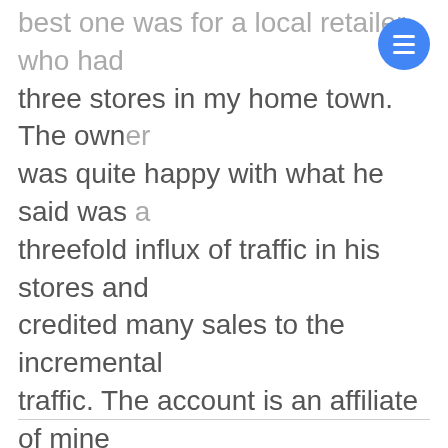best one was for a local retailer who had three stores in my home town. The owner was quite happy with what he said was a threefold influx of traffic in his stores and credited many sales to the incremental traffic. The account is an affiliate of mine that has 200 stores and an online store. I've also tried it for another affiliate and was able to generate several thousand dollars so far in a grey hat situation. Bottom line--it's working for me and I've made money on it and will continue to work it -Thomas Oboyle, aka toboyle9